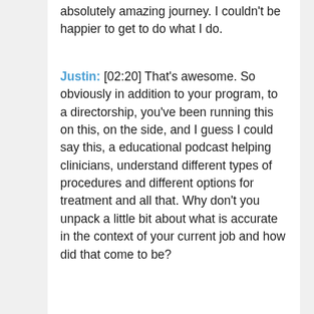absolutely amazing journey. I couldn't be happier to get to do what I do.
Justin: [02:20] That's awesome. So obviously in addition to your program, to a directorship, you've been running this on this, on the side, and I guess I could say this, a educational podcast helping clinicians, understand different types of procedures and different options for treatment and all that. Why don't you unpack a little bit about what is accurate in the context of your current job and how did that come to be?